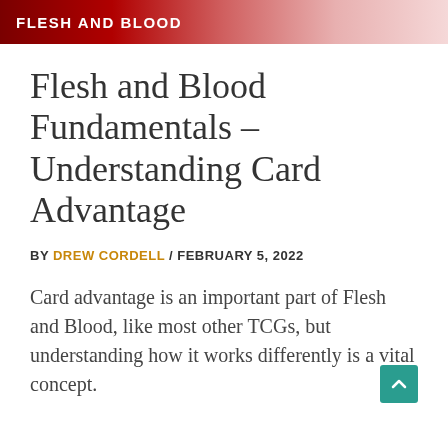FLESH AND BLOOD
Flesh and Blood Fundamentals – Understanding Card Advantage
BY DREW CORDELL / FEBRUARY 5, 2022
Card advantage is an important part of Flesh and Blood, like most other TCGs, but understanding how it works differently is a vital concept.